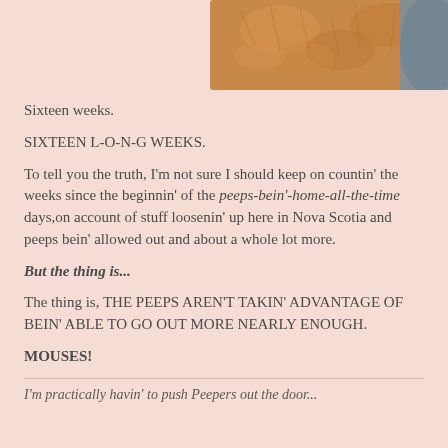[Figure (photo): Close-up photo of an orange/ginger cat's fur and head, partially visible, alongside a blue-grey background element, cropped at the top of the page.]
Sixteen weeks.
SIXTEEN L-O-N-G WEEKS.
To tell you the truth, I'm not sure I should keep on countin' the weeks since the beginnin' of the peeps-bein'-home-all-the-time days,on account of stuff loosenin' up here in Nova Scotia and peeps bein' allowed out and about a whole lot more.
But the thing is...
The thing is, THE PEEPS AREN'T TAKIN' ADVANTAGE OF BEIN' ABLE TO GO OUT MORE NEARLY ENOUGH.
MOUSES!
I'm practically havin' to push Peepers out the door...